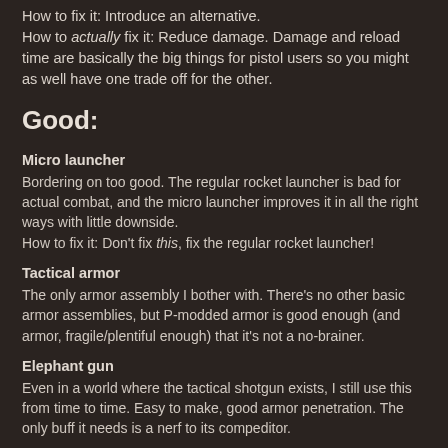How to fix it: Introduce an alternative.
How to actually fix it: Reduce damage. Damage and reload time are basically the big things for pistol users so you might as well have one trade off for the other.
Good:
Micro launcher
Bordering on too good. The regular rocket launcher is bad for actual combat, and the micro launcher improves it in all the right ways with little downside.
How to fix it: Don't fix this, fix the regular rocket launcher!
Tactical armor
The only armor assembly I bother with. There's no other basic armor assemblies, but P-modded armor is good enough (and armor, fragile/plentiful enough) that it's not a no-brainer.
Elephant gun
Even in a world where the tactical shotgun exists, I still use this from time to time. Easy to make, good armor penetration. The only buff it needs is a nerf to its compeditor.
Gatling gun
ugh, who even plays rapidfire
It's alright. Honestly it might be too good, but it doesn't feel like it because it gets in direct competition with the plasma rifle shortly after you make it.
Almost there: